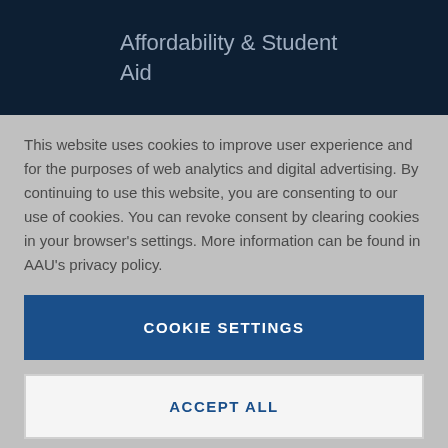Affordability & Student Aid
This website uses cookies to improve user experience and for the purposes of web analytics and digital advertising. By continuing to use this website, you are consenting to our use of cookies. You can revoke consent by clearing cookies in your browser's settings. More information can be found in AAU's privacy policy.
COOKIE SETTINGS
ACCEPT ALL